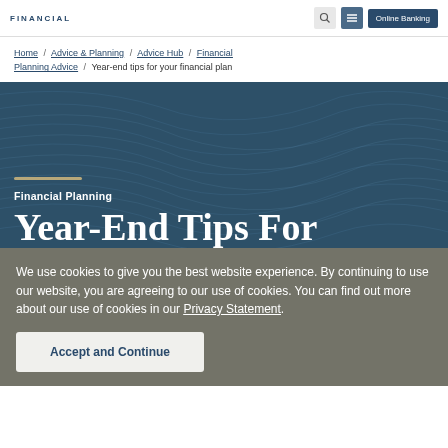FINANCIAL | Online Banking
Home / Advice & Planning / Advice Hub / Financial Planning Advice / Year-end tips for your financial plan
[Figure (illustration): Dark teal hero banner with wave line pattern overlay, gold horizontal rule, white text label 'Financial Planning', and large white serif heading 'Year-End Tips For']
We use cookies to give you the best website experience. By continuing to use our website, you are agreeing to our use of cookies. You can find out more about our use of cookies in our Privacy Statement.
Accept and Continue